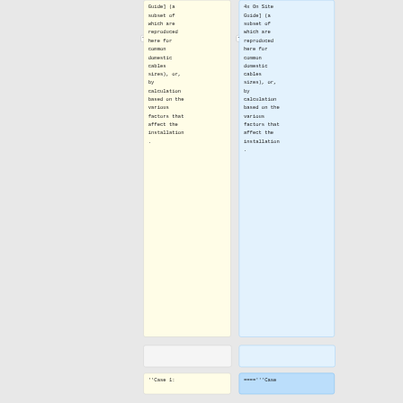Guide] (a subset of which are reproduced here for common domestic cables sizes), or, by calculation based on the various factors that affect the installation.
4x On Site Guide] (a subset of which are reproduced here for common domestic cables sizes), or, by calculation based on the various factors that affect the installation.
''Case 1:
===='''Case